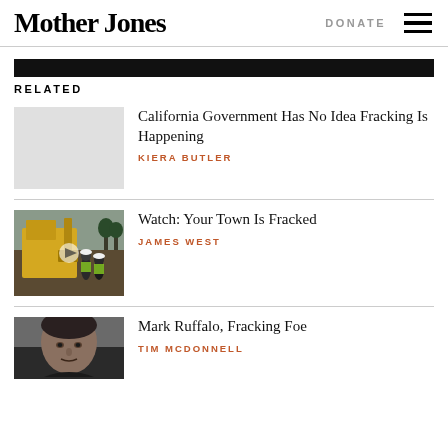Mother Jones | DONATE
RELATED
California Government Has No Idea Fracking Is Happening
KIERA BUTLER
[Figure (photo): Construction workers with heavy machinery outdoors]
Watch: Your Town Is Fracked
JAMES WEST
[Figure (photo): Close-up portrait of a man]
Mark Ruffalo, Fracking Foe
TIM MCDONNELL